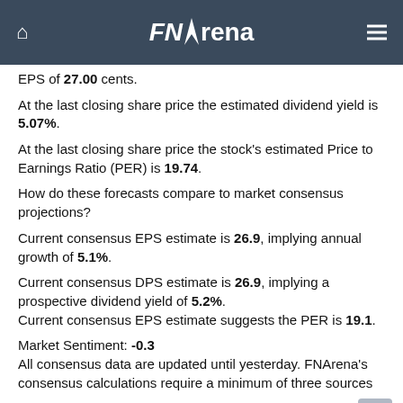FNArena
EPS of 27.00 cents.
At the last closing share price the estimated dividend yield is 5.07%.
At the last closing share price the stock's estimated Price to Earnings Ratio (PER) is 19.74.

How do these forecasts compare to market consensus projections?

Current consensus EPS estimate is 26.9, implying annual growth of 5.1%.
Current consensus DPS estimate is 26.9, implying a prospective dividend yield of 5.2%.
Current consensus EPS estimate suggests the PER is 19.1.

Market Sentiment: -0.3
All consensus data are updated until yesterday. FNArena's consensus calculations require a minimum of three sources
Ord Minnett rates AZJ as Sell (5) -